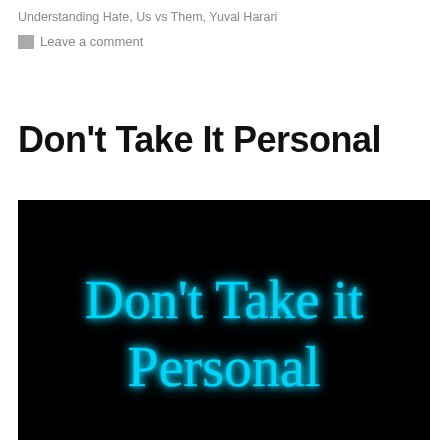Understanding Hate, Us vs Them, Yuval Harari
Leave a comment
Don't Take It Personal
[Figure (photo): Black background image with neon blue cursive text reading 'Don't Take it Personal']